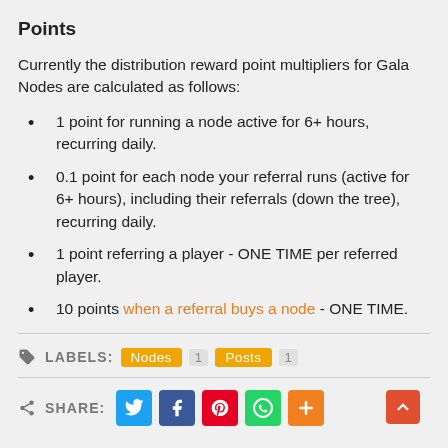Points
Currently the distribution reward point multipliers for Gala Nodes are calculated as follows:
1 point for running a node active for 6+ hours, recurring daily.
0.1 point for each node your referral runs (active for 6+ hours), including their referrals (down the tree), recurring daily.
1 point referring a player - ONE TIME per referred player.
10 points when a referral buys a node - ONE TIME.
LABELS: Nodes 1 Posts 1
SHARE: (social media icons)